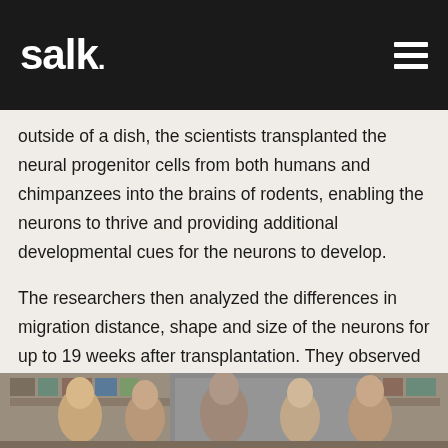salk.
outside of a dish, the scientists transplanted the neural progenitor cells from both humans and chimpanzees into the brains of rodents, enabling the neurons to thrive and providing additional developmental cues for the neurons to develop.
The researchers then analyzed the differences in migration distance, shape and size of the neurons for up to 19 weeks after transplantation. They observed the length, density and quantity of extensions of the neurons called dendrites, as well as the size of the cell bodies, which house the nucleus and DNA.
[Figure (photo): Group photo of researchers in a laboratory setting, partially visible at bottom of page]